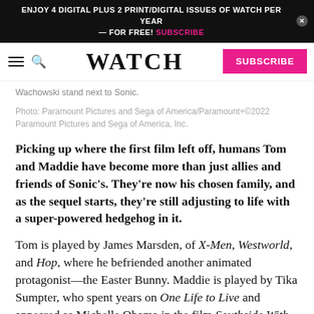ENJOY 4 DIGITAL PLUS 2 PRINT/DIGITAL ISSUES OF WATCH PER YEAR — FOR FREE! SUBSCRIBE
WATCH | SUBSCRIBE
Wachowski stand next to Sonic.
Photo: Paramount Pictures and Sega of America/Paramount+©2022 Paramount Pictures and Sega of America, Inc.
Picking up where the first film left off, humans Tom and Maddie have become more than just allies and friends of Sonic's. They're now his chosen family, and as the sequel starts, they're still adjusting to life with a super-powered hedgehog in it.
Tom is played by James Marsden, of X-Men, Westworld, and Hop, where he befriended another animated protagonist—the Easter Bunny. Maddie is played by Tika Sumpter, who spent years on One Life to Live and appeared as Michelle Obama in the film Southside With You.